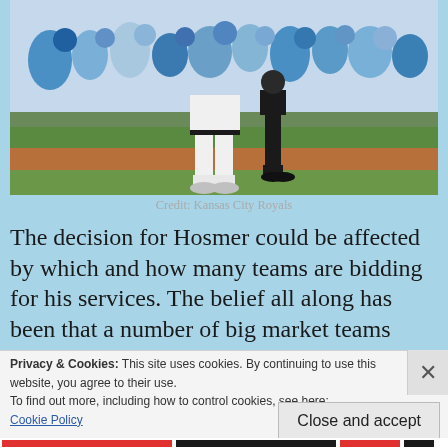[Figure (photo): A baseball player in white uniform standing on field with an umpire in black, fans visible in the background at a Kansas City Royals game.]
Credit: Kansas City Royals
The decision for Hosmer could be affected by which and how many teams are bidding for his services. The belief all along has been that a number of big market teams would be
Privacy & Cookies: This site uses cookies. By continuing to use this website, you agree to their use.
To find out more, including how to control cookies, see here:
Cookie Policy
Close and accept